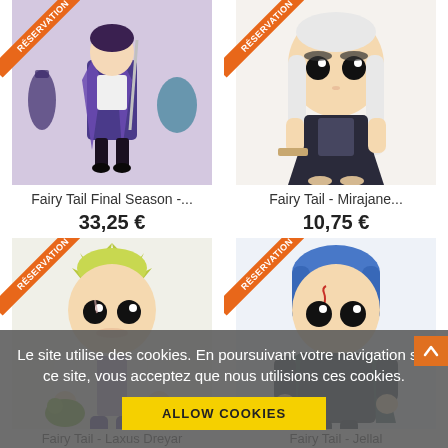[Figure (photo): Anime figure - Fairy Tail Final Season character in purple/dark outfit with RESERVATION ribbon]
[Figure (photo): Funko Pop figure - Fairy Tail Mirajane character with white hair and dark dress, RESERVATION ribbon]
Fairy Tail Final Season -...
33,25 €
Fairy Tail - Mirajane...
10,75 €
[Figure (photo): Funko Pop figure - Fairy Tail Laxus Dreyar with spiky blonde hair and green dragon, RESERVATION ribbon]
[Figure (photo): Funko Pop figure - Fairy Tail Jellal with blue hair and tattoo markings, RESERVATION ribbon]
Le site utilise des cookies. En poursuivant votre navigation sur ce site, vous acceptez que nous utilisions ces cookies.
ALLOW COOKIES
Fairy Tail - Laxus Dreyar
Fairy Tail - Jellal